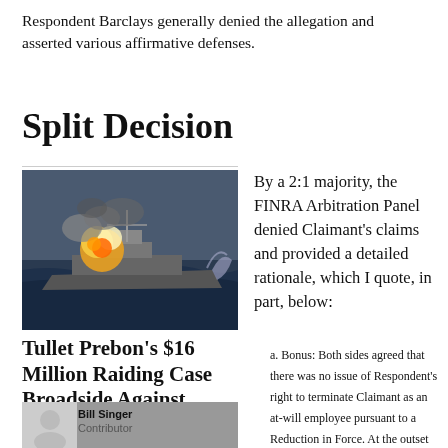Respondent Barclays generally denied the allegation and asserted various affirmative defenses.
Split Decision
[Figure (photo): Aerial photograph of a warship at sea with large explosion/fire on deck, surrounded by ocean waves]
Tullet Prebon's $16 Million Raiding Case Broadside Against BGC Financial Fizzles
[Figure (photo): Photo of Bill Singer, contributor]
By a 2:1 majority, the FINRA Arbitration Panel denied Claimant's claims and provided a detailed rationale, which I quote, in part, below:
a. Bonus: Both sides agreed that there was no issue of Respondent's right to terminate Claimant as an at-will employee pursuant to a Reduction in Force. At the outset of her employment,